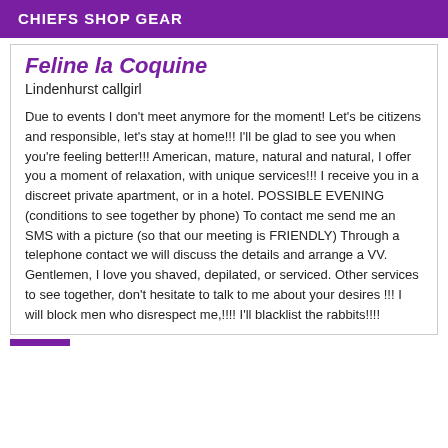CHIEFS SHOP GEAR
Feline la Coquine
Lindenhurst callgirl
Due to events I don't meet anymore for the moment! Let's be citizens and responsible, let's stay at home!!! I'll be glad to see you when you're feeling better!!! American, mature, natural and natural, I offer you a moment of relaxation, with unique services!!! I receive you in a discreet private apartment, or in a hotel. POSSIBLE EVENING (conditions to see together by phone) To contact me send me an SMS with a picture (so that our meeting is FRIENDLY) Through a telephone contact we will discuss the details and arrange a VV. Gentlemen, I love you shaved, depilated, or serviced. Other services to see together, don't hesitate to talk to me about your desires !!! I will block men who disrespect me,!!!! I'll blacklist the rabbits!!!!